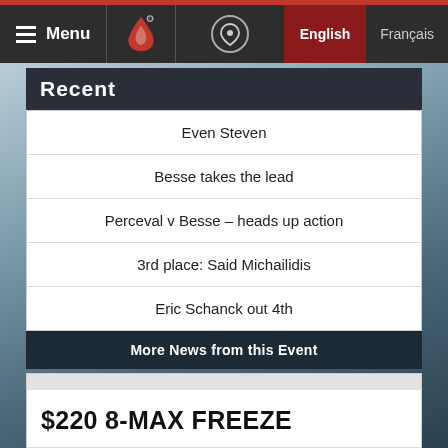Menu | English | Français
Recent
Even Steven
Besse takes the lead
Perceval v Besse – heads up action
3rd place: Said Michailidis
Eric Schanck out 4th
More News from this Event
$220 8-MAX FREEZE